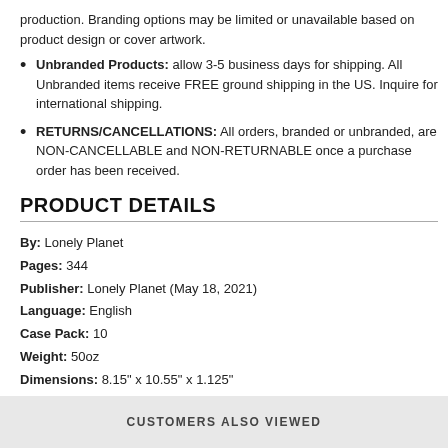production. Branding options may be limited or unavailable based on product design or cover artwork.
Unbranded Products: allow 3-5 business days for shipping. All Unbranded items receive FREE ground shipping in the US. Inquire for international shipping.
RETURNS/CANCELLATIONS: All orders, branded or unbranded, are NON-CANCELLABLE and NON-RETURNABLE once a purchase order has been received.
PRODUCT DETAILS
By: Lonely Planet
Pages: 344
Publisher: Lonely Planet (May 18, 2021)
Language: English
Case Pack: 10
Weight: 50oz
Dimensions: 8.15" x 10.55" x 1.125"
Series: Lonely Planet
CUSTOMERS ALSO VIEWED